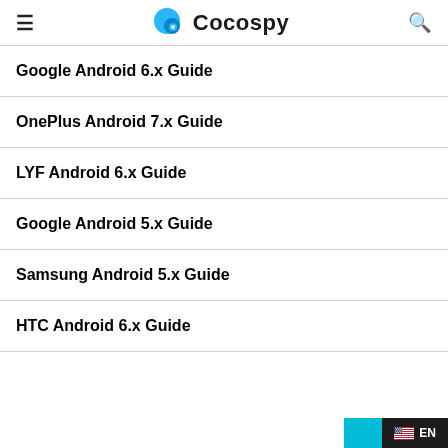Cocospy
Google Android 6.x Guide
OnePlus Android 7.x Guide
LYF Android 6.x Guide
Google Android 5.x Guide
Samsung Android 5.x Guide
HTC Android 6.x Guide